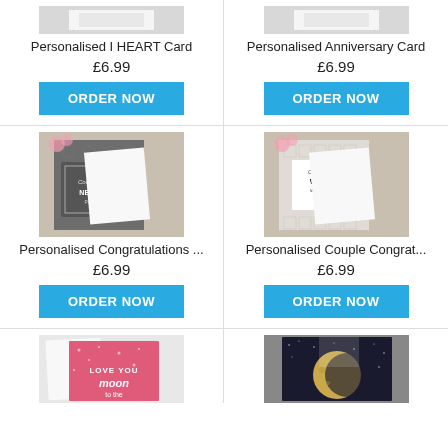[Figure (photo): Top portion of Personalised I HEART Card product image (cropped)]
[Figure (photo): Top portion of Personalised Anniversary Card product image (cropped)]
Personalised I HEART Card
£6.99
ORDER NOW
Personalised Anniversary Card
£6.99
ORDER NOW
[Figure (photo): Personalised Congratulations card with new home design, grey patterned background with envelope]
[Figure (photo): Personalised Couple Congratulations wedding card with rings, white patterned background with envelope]
Personalised Congratulations ...
£6.99
ORDER NOW
Personalised Couple Congrat...
£6.99
ORDER NOW
[Figure (photo): Bottom portion of love/moon themed card, pink glittery design (cropped)]
[Figure (photo): Bottom portion of moon/space themed card, dark background with moon (cropped)]